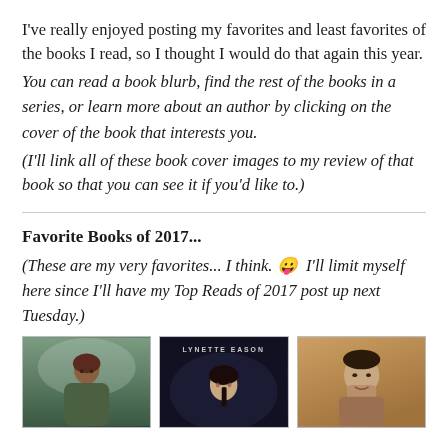I've really enjoyed posting my favorites and least favorites of the books I read, so I thought I would do that again this year.
You can read a book blurb, find the rest of the books in a series, or learn more about an author by clicking on the cover of the book that interests you.
(I'll link all of these book cover images to my review of that book so that you can see it if you'd like to.)
Favorite Books of 2017...
(These are my very favorites... I think. 😛 I'll limit myself here since I'll have my Top Reads of 2017 post up next Tuesday.)
[Figure (photo): Three book cover images side by side: first shows a woman in a green coat with a wintry background, second shows a woman with dark hair against a dark background with author name Lynette Eason, third shows a man in warm tones.]